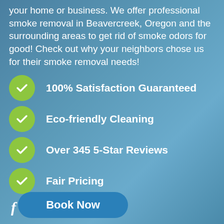your home or business. We offer professional smoke removal in Beavercreek, Oregon and the surrounding areas to get rid of smoke odors for good! Check out why your neighbors chose us for their smoke removal needs!
100% Satisfaction Guaranteed
Eco-friendly Cleaning
Over 345 5-Star Reviews
Fair Pricing
[Figure (other): Social media icons: Facebook (f), Yelp (asterisk/flower), Google (G)]
Book Now